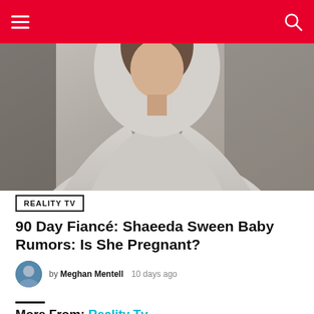Navigation bar with menu and search icons
[Figure (photo): Woman wearing a gray turtleneck hoodie, photographed from mid-torso up, with a blurred indoor background]
REALITY TV
90 Day Fiancé: Shaeeda Sween Baby Rumors: Is She Pregnant?
by Meghan Mentell  10 days ago
More From: Reality Tv
[Figure (photo): Two people visible in the front seat of a car, photographed from outside the windshield looking in]